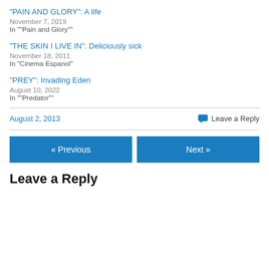"PAIN AND GLORY": A life
November 7, 2019
In ""Pain and Glory""
"THE SKIN I LIVE IN": Deliciously sick
November 18, 2011
In "Cinema Espanol"
"PREY": Invading Eden
August 10, 2022
In ""Predator""
August 2, 2013
Leave a Reply
« Previous
Next »
Leave a Reply